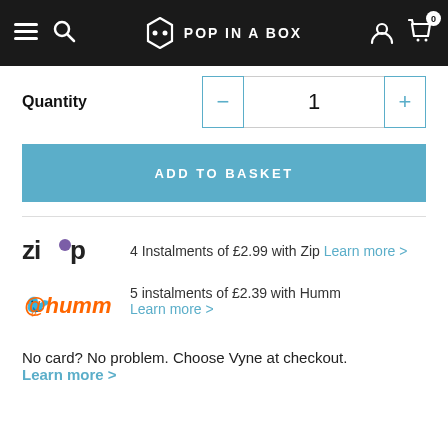POP IN A BOX
Quantity  1
ADD TO BASKET
4 Instalments of £2.99 with Zip Learn more >
5 instalments of £2.39 with Humm
Learn more >
No card? No problem. Choose Vyne at checkout.
Learn more >